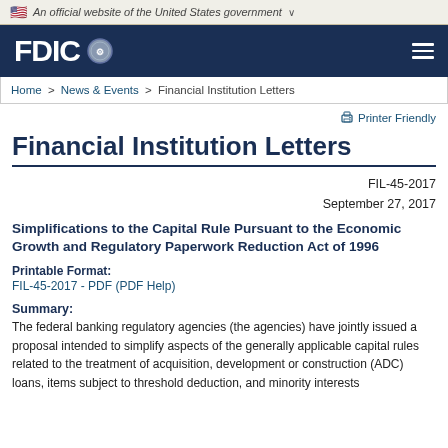An official website of the United States government
[Figure (logo): FDIC logo with eagle seal on dark navy blue header background]
Home > News & Events > Financial Institution Letters
Printer Friendly
Financial Institution Letters
FIL-45-2017
September 27, 2017
Simplifications to the Capital Rule Pursuant to the Economic Growth and Regulatory Paperwork Reduction Act of 1996
Printable Format:
FIL-45-2017 - PDF (PDF Help)
Summary:
The federal banking regulatory agencies (the agencies) have jointly issued a proposal intended to simplify aspects of the generally applicable capital rules related to the treatment of acquisition, development or construction (ADC) loans, items subject to threshold deduction, and minority interests